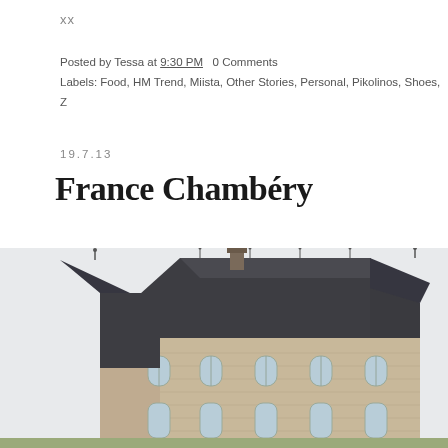xx
Posted by Tessa at 9:30 PM   0 Comments
Labels: Food, HM Trend, Miista, Other Stories, Personal, Pikolinos, Shoes, Z
19.7.13
France Chambéry
[Figure (photo): A French château in Chambéry with distinctive steep dark slate roofs, conical towers, spire weather vanes, and stone facade walls with arched windows, photographed against a pale sky.]